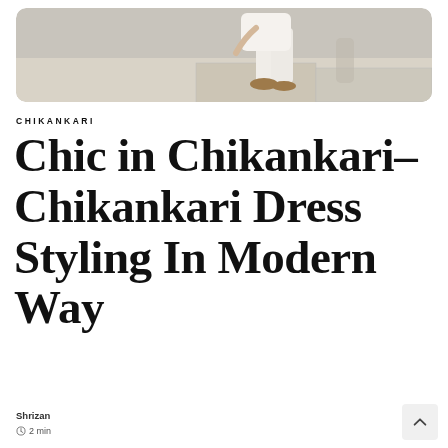[Figure (photo): Woman in white outfit sitting on stone ledge, wearing tan sandals, outdoor daytime setting]
CHIKANKARI
Chic in Chikankari– Chikankari Dress Styling In Modern Way
Shrizan
2 min